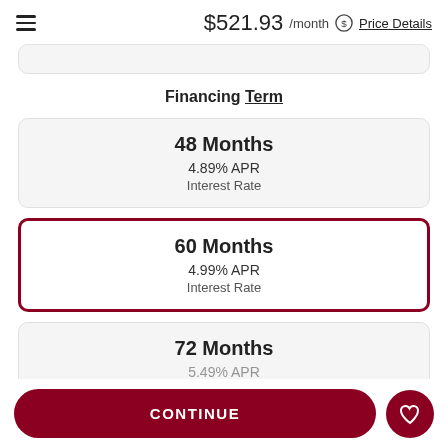$521.93 /month  Price Details
Financing Term
48 Months
4.89% APR
Interest Rate
60 Months
4.99% APR
Interest Rate
72 Months
5.49% APR
CONTINUE